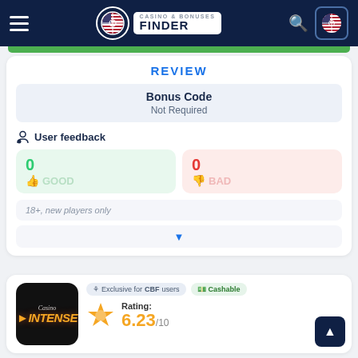Casino & Bonuses Finder
REVIEW
| Bonus Code |
| --- |
| Not Required |
User feedback
0 GOOD
0 BAD
18+, new players only
Exclusive for CBF users  Cashable  Rating: 6.23/10